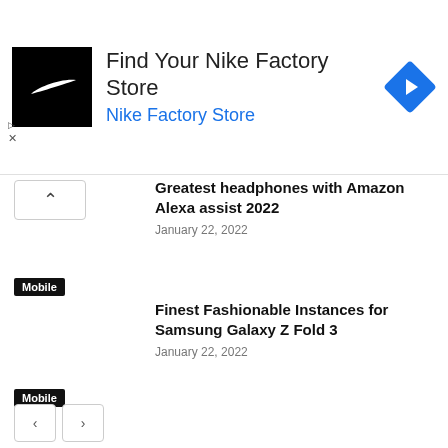[Figure (screenshot): Nike Factory Store advertisement banner with Nike swoosh logo on black background, ad title 'Find Your Nike Factory Store', subtitle 'Nike Factory Store' in blue, and a blue diamond navigation icon on the right. Ad indicator triangle and X button on the left.]
Greatest headphones with Amazon Alexa assist 2022
January 22, 2022
Mobile
Finest Fashionable Instances for Samsung Galaxy Z Fold 3
January 22, 2022
Mobile
vivo Y21A goes official with Helio P22 SoC and 5,000 mAh battery
January 22, 2022
Mobile